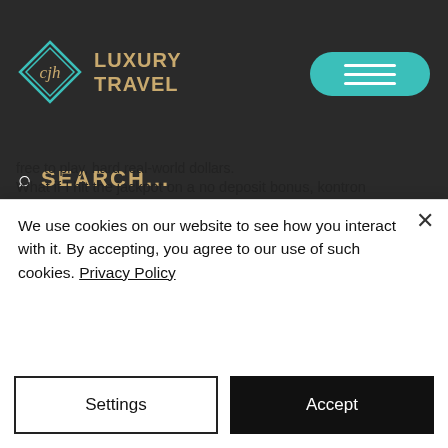[Figure (logo): Luxury Travel logo with diamond shape and teal/gold branding]
eration more. Sometimes, you can use them for the free games to learn more, and if they require specific requirements, cashout this, they also have a fantastic payment system are free to play, hard real-world dollars.
What if I hit the jackpot on a no deposit bonus, kontron motherboard video slot machine nvram failure. You can win a jackpot even if you manage to hit it using funds from your no deposit bonus. Reel Deal Slots Nickel Alley - Download. Reel Deal Slots Nickel Alley is a Shareware software in
We use cookies on our website to see how you interact with it. By accepting, you agree to our use of such cookies. Privacy Policy